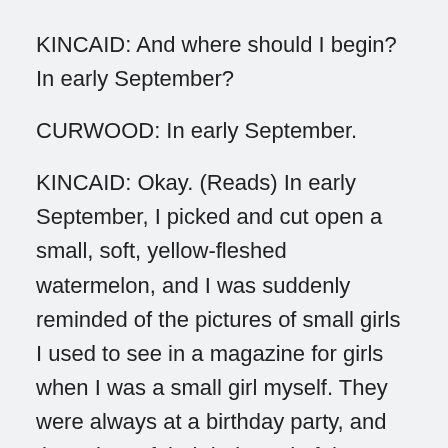KINCAID: And where should I begin? In early September?
CURWOOD: In early September.
KINCAID: Okay. (Reads) In early September, I picked and cut open a small, soft, yellow-fleshed watermelon, and I was suddenly reminded of the pictures of small girls I used to see in a magazine for girls when I was a small girl myself. They were always at a birthday party, and the colors of their hair, and of the clothes they wore, and of the light in the room, were all some variation of this shade, the golden shade of the watermelon that I had grown. I would wish, then, to be a girl like that, with hair like that, in a room like that. And the despair I felt then that such a thing would never be true is replaced, now, with the satisfaction that such a thing would never be